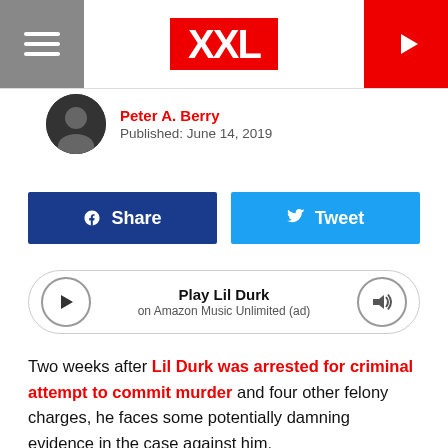XXL
Peter A. Berry
Published: June 14, 2019
Share | Tweet
Play Lil Durk on Amazon Music Unlimited (ad)
Two weeks after Lil Durk was arrested for criminal attempt to commit murder and four other felony charges, he faces some potentially damning evidence in the case against him.
According to a report published by Atlanta's WSBTV on Friday (June 14), a police detective claims that video footage shows Lil Durk shooting a man while driving near The Varsity restaurant in the city. The shooting Durk was arrested for took place at The Varsity on Feb. 5 and left one man with